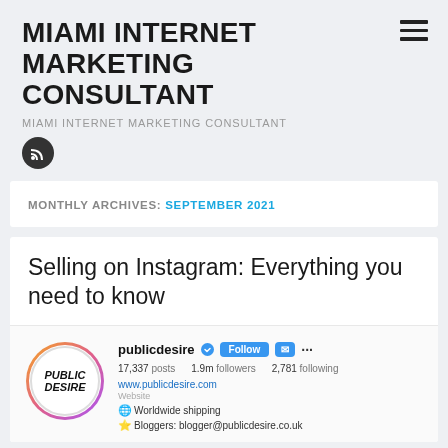MIAMI INTERNET MARKETING CONSULTANT
MIAMI INTERNET MARKETING CONSULTANT
MONTHLY ARCHIVES: SEPTEMBER 2021
Selling on Instagram: Everything you need to know
[Figure (screenshot): Instagram profile screenshot for Public Desire showing profile picture, follow button, stats (17,337 posts, 1.9m followers, 2,781 following), website www.publicdesire.com, and bio lines including Worldwide shipping and blogger@publicdesire.co.uk]